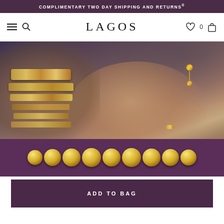COMPLIMENTARY TWO DAY SHIPPING AND RETURNS®
[Figure (logo): LAGOS jewelry brand logo in serif font]
[Figure (photo): Woman wearing multiple gold bracelets and jewelry, close-up portrait with hand near face, dark moody background]
[Figure (photo): Gold beaded ball bracelet displayed on purple/plum background strip at bottom of hero image]
ADD TO BAG